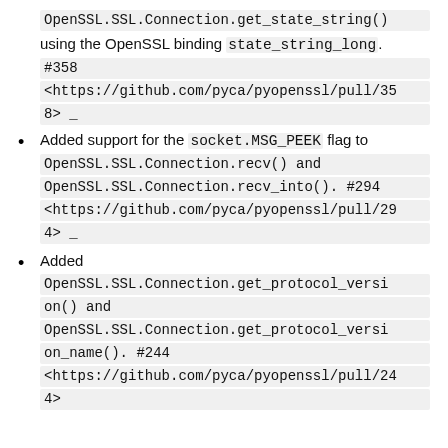OpenSSL.SSL.Connection.get_state_string() using the OpenSSL binding state_string_long. #358 <https://github.com/pyca/pyopenssl/pull/358> _
Added support for the socket.MSG_PEEK flag to OpenSSL.SSL.Connection.recv() and OpenSSL.SSL.Connection.recv_into(). #294 <https://github.com/pyca/pyopenssl/pull/294> _
Added OpenSSL.SSL.Connection.get_protocol_version() and OpenSSL.SSL.Connection.get_protocol_version_name(). #244 <https://github.com/pyca/pyopenssl/pull/244> _